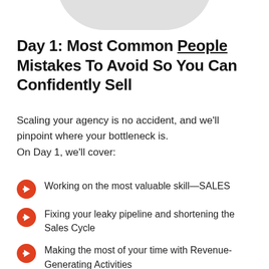Day 1: Most Common People Mistakes To Avoid So You Can Confidently Sell
Scaling your agency is no accident, and we'll pinpoint where your bottleneck is. On Day 1, we'll cover:
Working on the most valuable skill—SALES
Fixing your leaky pipeline and shortening the Sales Cycle
Making the most of your time with Revenue-Generating Activities